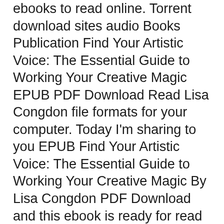ebooks to read online. Torrent download sites audio Books Publication Find Your Artistic Voice: The Essential Guide to Working Your Creative Magic EPUB PDF Download Read Lisa Congdon file formats for your computer. Today I'm sharing to you EPUB Find Your Artistic Voice: The Essential Guide to Working Your Creative Magic By Lisa Congdon PDF Download and this ebook is ready for read and download. PDF Find Your Artistic Voice: The Essential Guide to Working Your Creative Magic by Lisa Congdon EPUB Download Plot, ratings, reviews. Today I'll share to you the link to EPUB Find Your Artistic Voice: The Essential Guide to Working Your Creative Magic By Lisa Congdon PDF Download free new ebook. EPUB Find Your Artistic Voice: The Essential Guide to Working Your Creative Magic By Lisa Congdon PDF Download Plot, ratings, reviews.
EPUB Find Your Artistic Voice: The Essential Guide to Working Your Creative Magic By Lisa Congdon PDF